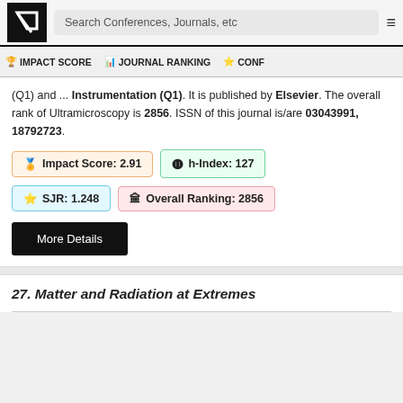Search Conferences, Journals, etc
🏆 IMPACT SCORE   📊 JOURNAL RANKING   ⭐ CONF
Instrumentation (Q1). It is published by Elsevier. The overall rank of Ultramicroscopy is 2856. ISSN of this journal is/are 03043991, 18792723.
🏅 Impact Score: 2.91
Ⓗ h-Index: 127
⭐ SJR: 1.248
🏛 Overall Ranking: 2856
More Details
27. Matter and Radiation at Extremes